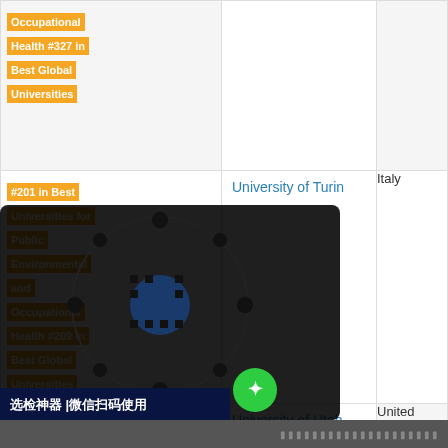| Ranking | University | Country |
| --- | --- | --- |
| Occupational Health #327 in Best Global Universities |  |  |
| #201 in Best Universities for Public Environmental and Occupational Health #209 in Best Global Universities | University of Turin | Italy |
| #202 in Best Universities for Public Environmental and Occupational Health | University of Utah | United |
|  | ...oud University Nijmegen | Nether |